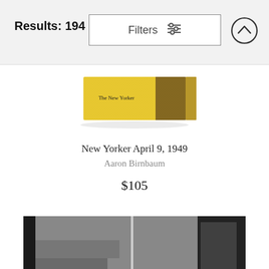Results: 194
Filters
[Figure (photo): Side view of a book — New Yorker April 9, 1949 — with colorful illustrated spine visible against white background]
New Yorker April 9, 1949
Aaron Birnbaum
$105
[Figure (photo): Black and white photograph of a modernist sculptural or mechanical object with a vertical spike, geometric base, and chrome elements]